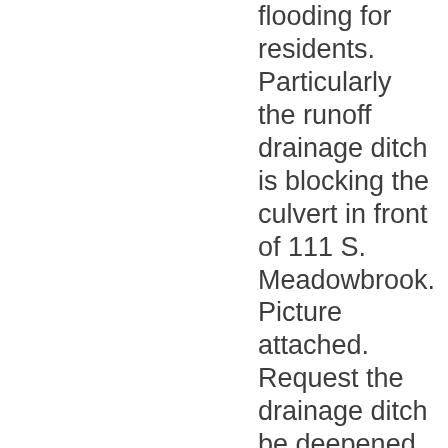flooding for residents. Particularly the runoff drainage ditch is blocking the culvert in front of 111 S. Meadowbrook. Picture attached. Request the drainage ditch be deepened in this area so that the culvert is unblocked and provides sufficient